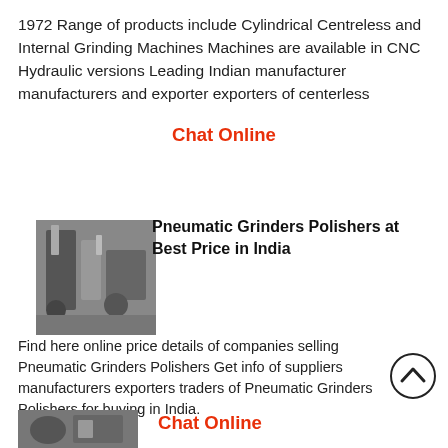1972 Range of products include Cylindrical Centreless and Internal Grinding Machines Machines are available in CNC Hydraulic versions Leading Indian manufacturer manufacturers and exporter exporters of centerless
Chat Online
[Figure (photo): Photo of industrial pneumatic grinder machine in a factory setting]
Pneumatic Grinders Polishers at Best Price in India
Find here online price details of companies selling Pneumatic Grinders Polishers Get info of suppliers manufacturers exporters traders of Pneumatic Grinders Polishers for buying in India.
Chat Online
[Figure (photo): Photo partially visible at bottom of page]